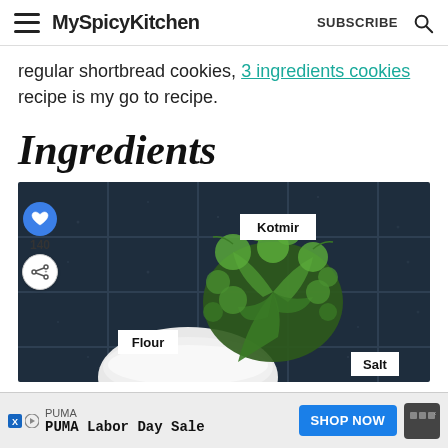MySpicyKitchen SUBSCRIBE
regular shortbread cookies, 3 ingredients cookies recipe is my go to recipe.
Ingredients
[Figure (photo): Overhead photo of ingredients on dark tiled surface including cilantro/kotmir, flour in a bowl, and salt. Labels: Kotmir, Flour, Salt. Social sidebar with heart icon (blue circle), 140 count, share icon.]
PUMA
PUMA Labor Day Sale
SHOP NOW